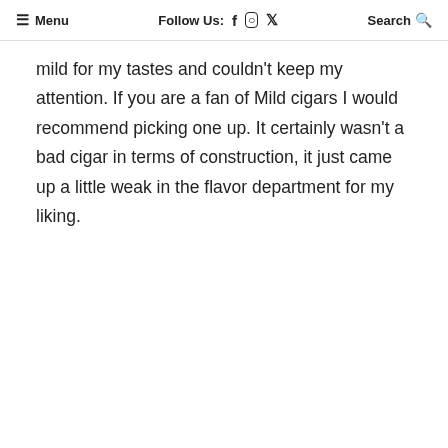≡ Menu   Follow Us: f  ⊙  𝕏   Search 🔍
mild for my tastes and couldn't keep my attention. If you are a fan of Mild cigars I would recommend picking one up. It certainly wasn't a bad cigar in terms of construction, it just came up a little weak in the flavor department for my liking.